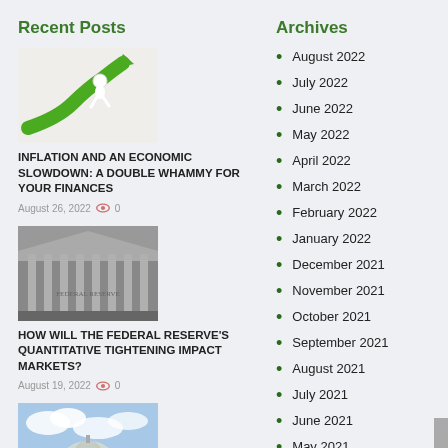Recent Posts
[Figure (photo): Green arrow figure with white character running upward on green rising arrow]
INFLATION AND AN ECONOMIC SLOWDOWN: A DOUBLE WHAMMY FOR YOUR FINANCES
August 26, 2022  0
[Figure (photo): Federal Reserve building facade with columns, black and white tones]
HOW WILL THE FEDERAL RESERVE'S QUANTITATIVE TIGHTENING IMPACT MARKETS?
August 19, 2022  0
[Figure (photo): US Capitol building with clouds and blue sky]
CONGRESS AT WORK:
Archives
August 2022
July 2022
June 2022
May 2022
April 2022
March 2022
February 2022
January 2022
December 2021
November 2021
October 2021
September 2021
August 2021
July 2021
June 2021
May 2021